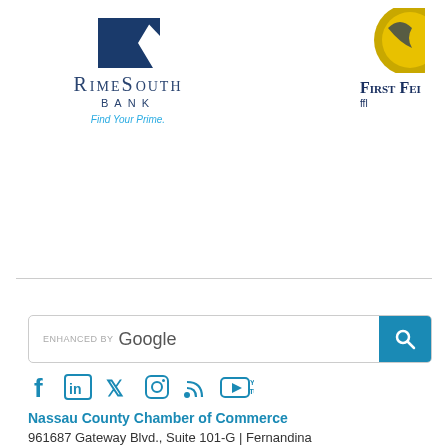[Figure (logo): PrimeSouth Bank logo with navy blue stylized P icon, text 'RimeSouth Bank' in navy, tagline 'Find Your Prime.' in cyan/light blue]
[Figure (logo): First Federal partial logo with yellow/gold circular icon and text 'First Fei' (cropped), 'ffl' below in navy]
[Figure (other): Horizontal divider line]
[Figure (other): Google enhanced search bar with search button]
[Figure (other): Social media icons: Facebook, LinkedIn, Twitter, Instagram, RSS, YouTube in teal/blue]
Nassau County Chamber of Commerce
961687 Gateway Blvd., Suite 101-G | Fernandina